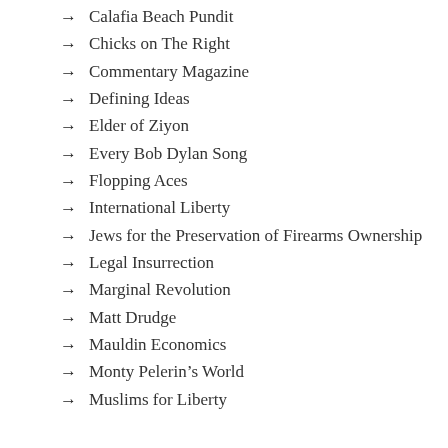Calafia Beach Pundit
Chicks on The Right
Commentary Magazine
Defining Ideas
Elder of Ziyon
Every Bob Dylan Song
Flopping Aces
International Liberty
Jews for the Preservation of Firearms Ownership
Legal Insurrection
Marginal Revolution
Matt Drudge
Mauldin Economics
Monty Pelerin’s World
Muslims for Liberty